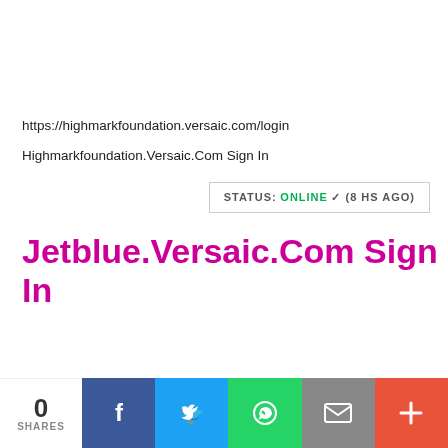https://highmarkfoundation.versaic.com/login
Highmarkfoundation.Versaic.Com Sign In
STATUS: ONLINE ✓ (8 HS AGO)
Jetblue.Versaic.Com Sign In
0 SHARES
[Figure (other): Social share bar with Facebook, Twitter, WhatsApp, Email, and plus buttons]